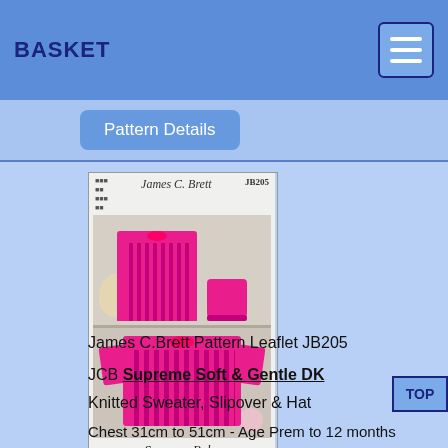BASKET
Pattern Details
[Figure (photo): James C. Brett knitting pattern leaflet JB205 cover showing pink knitted sweater, slipover and hat for babies, Supreme Baby line]
James C.Brett Pattern Leaflet JB205
JCB Supreme Soft & Gentle DK
Knitted Sweater, Slipover & Hat
Chest 31cm to 51cm - Age Prem to 12 months